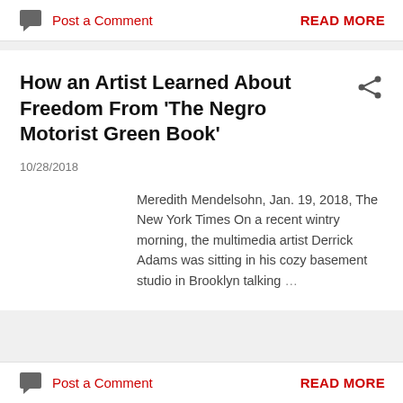Post a Comment
READ MORE
How an Artist Learned About Freedom From 'The Negro Motorist Green Book'
10/28/2018
Meredith Mendelsohn, Jan. 19, 2018, The New York Times On a recent wintry morning, the multimedia artist Derrick Adams was sitting in his cozy basement studio in Brooklyn talking …
Post a Comment
READ MORE